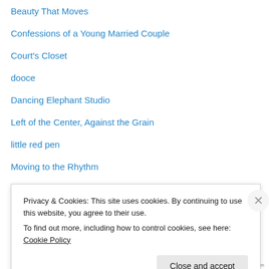Beauty That Moves
Confessions of a Young Married Couple
Court's Closet
dooce
Dancing Elephant Studio
Left of the Center, Against the Grain
little red pen
Moving to the Rhythm
Nibblin' on Spongecake
Privacy & Cookies: This site uses cookies. By continuing to use this website, you agree to their use.
To find out more, including how to control cookies, see here: Cookie Policy
Close and accept